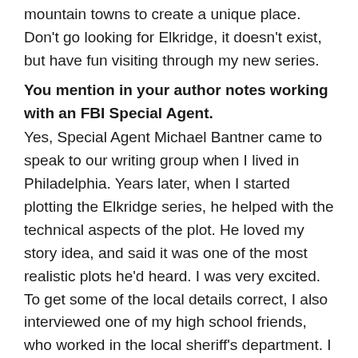mountain towns to create a unique place. Don't go looking for Elkridge, it doesn't exist, but have fun visiting through my new series.
You mention in your author notes working with an FBI Special Agent.
Yes, Special Agent Michael Bantner came to speak to our writing group when I lived in Philadelphia. Years later, when I started plotting the Elkridge series, he helped with the technical aspects of the plot. He loved my story idea, and said it was one of the most realistic plots he'd heard. I was very excited. To get some of the local details correct, I also interviewed one of my high school friends, who worked in the local sheriff's department. I love research, so it was a